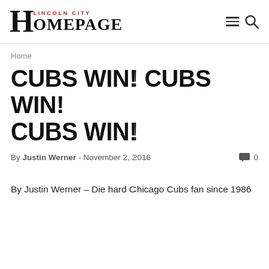Lincoln City Homepage
Home
CUBS WIN! CUBS WIN! CUBS WIN!
By Justin Werner - November 2, 2016  0
By Justin Werner – Die hard Chicago Cubs fan since 1986